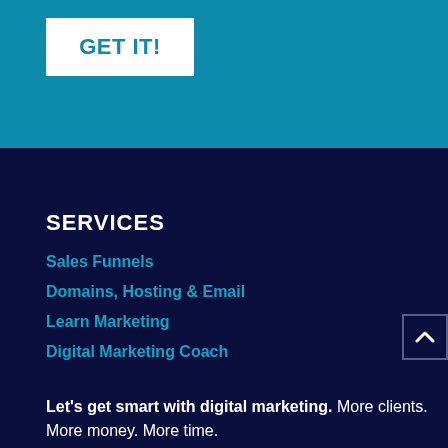GET IT!
SERVICES
Sales Funnels
Domains, Hosting & Email
Learn Marketing
Digital Marketing Coach
Let's get smart with digital marketing. More clients. More money. More time.